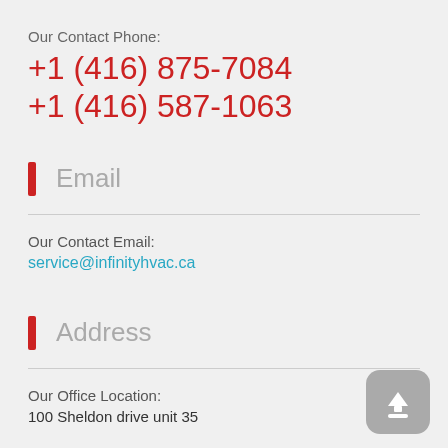Our Contact Phone:
+1 (416) 875-7084
+1 (416) 587-1063
Email
Our Contact Email:
service@infinityhvac.ca
Address
Our Office Location:
100 Sheldon drive unit 35